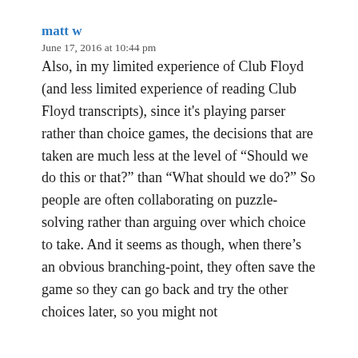matt w
June 17, 2016 at 10:44 pm
Also, in my limited experience of Club Floyd (and less limited experience of reading Club Floyd transcripts), since it’s playing parser rather than choice games, the decisions that are taken are much less at the level of “Should we do this or that?” than “What should we do?” So people are often collaborating on puzzle-solving rather than arguing over which choice to take. And it seems as though, when there’s an obvious branching-point, they often save the game so they can go back and try the other choices later, so you might not